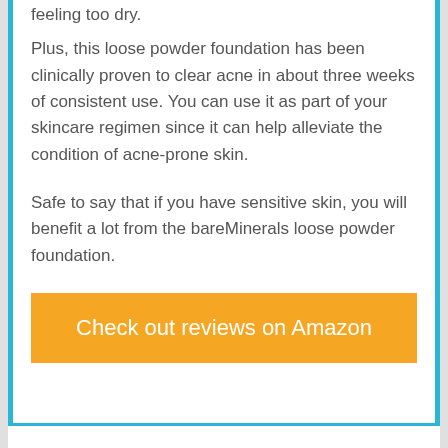feeling too dry.
Plus, this loose powder foundation has been clinically proven to clear acne in about three weeks of consistent use. You can use it as part of your skincare regimen since it can help alleviate the condition of acne-prone skin.
Safe to say that if you have sensitive skin, you will benefit a lot from the bareMinerals loose powder foundation.
[Figure (other): Orange call-to-action button labeled 'Check out reviews on Amazon']